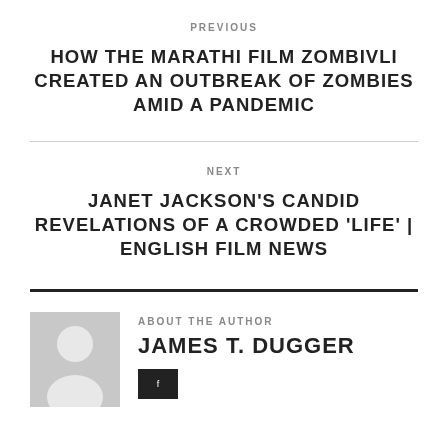PREVIOUS
HOW THE MARATHI FILM ZOMBIVLI CREATED AN OUTBREAK OF ZOMBIES AMID A PANDEMIC
NEXT
JANET JACKSON'S CANDID REVELATIONS OF A CROWDED 'LIFE' | ENGLISH FILM NEWS
ABOUT THE AUTHOR
JAMES T. DUGGER
[Figure (illustration): Generic author avatar: grey square with white silhouette of a person (head and shoulders)]